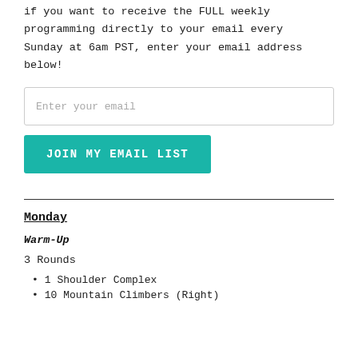if you want to receive the FULL weekly programming directly to your email every Sunday at 6am PST, enter your email address below!
[Figure (other): Email input field with placeholder text 'Enter your email']
[Figure (other): Teal button labeled 'JOIN MY EMAIL LIST']
Monday
Warm-Up
3 Rounds
1 Shoulder Complex
10 Mountain Climbers (Right)